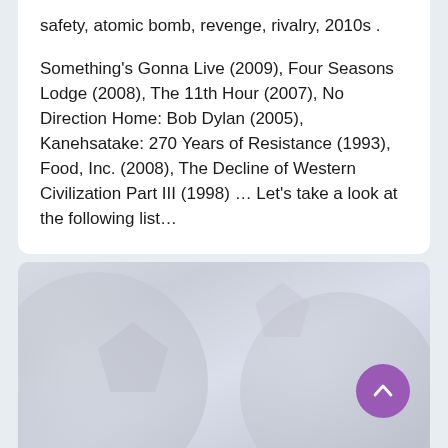safety, atomic bomb, revenge, rivalry, 2010s .
Something's Gonna Live (2009), Four Seasons Lodge (2008), The 11th Hour (2007), No Direction Home: Bob Dylan (2005), Kanehsatake: 270 Years of Resistance (1993), Food, Inc. (2008), The Decline of Western Civilization Part III (1998) … Let's take a look at the following list…
[Figure (photo): Faded background image suggesting soccer ball shapes with grey/light blue tones, with a purple circular scroll-to-top button in the bottom right corner.]